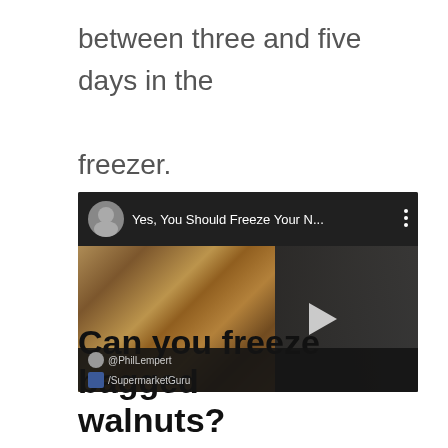between three and five days in the freezer.
[Figure (screenshot): YouTube video thumbnail showing a man in a dark suit standing next to a monitor displaying walnuts. Video title reads 'Yes, You Should Freeze Your N...' with channel social handles @PhilLempert and /SupermarketGuru at the bottom.]
Can you freeze bagged walnuts?